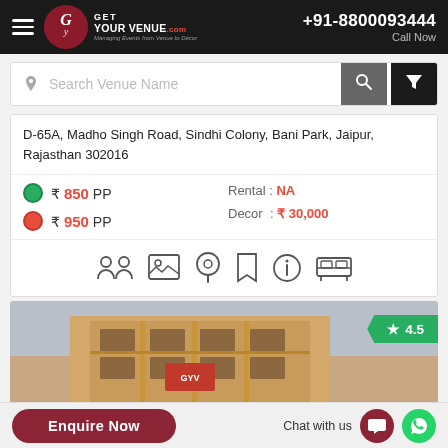+91-8800093444 Call Now | Get Your Venue .com — Managing Events from Venue to Décor
Search Venue Name
D-65A, Madho Singh Road, Sindhi Colony, Bani Park, Jaipur, Rajasthan 302016
₹ 850 PP | ₹ 950 PP | Rental : NA | Decor : ₹ 30,000
[Figure (screenshot): Row of venue feature icons: people/capacity, photo gallery, location pin, bookmark, info, parking/bed]
[Figure (photo): Building exterior photo with a green rating badge showing star 4.5]
Enquire Now
Chat with us